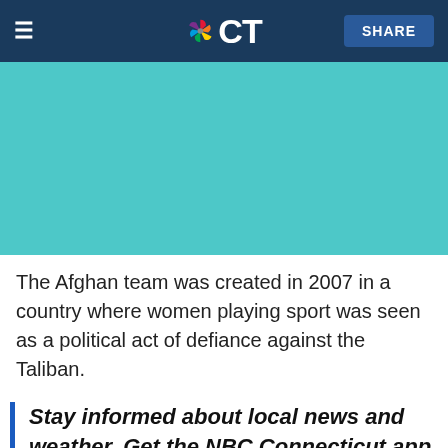NBC CT — SHARE
[Figure (photo): Teal/turquoise colored image placeholder area]
The Afghan team was created in 2007 in a country where women playing sport was seen as a political act of defiance against the Taliban.
Stay informed about local news and weather. Get the NBC Connecticut app for iOS or Android and pick your alerts.